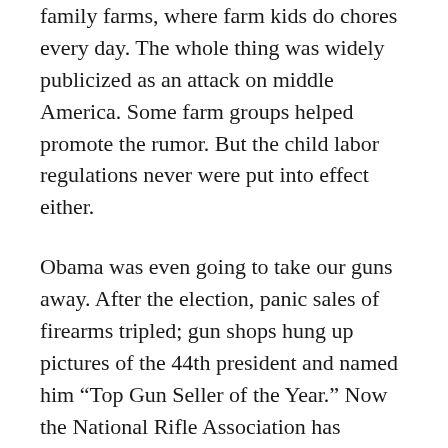family farms, where farm kids do chores every day. The whole thing was widely publicized as an attack on middle America. Some farm groups helped promote the rumor. But the child labor regulations never were put into effect either.
Obama was even going to take our guns away. After the election, panic sales of firearms tripled; gun shops hung up pictures of the 44th president and named him “Top Gun Seller of the Year.” Now the National Rifle Association has proposed placing armed guards in schools. This doesn’t look like gun control to me.
[imgcontainer right] [img:childfarmwork250.jpg] [source]National Park Service[/source] Rumors of a crackdown on children’s farm chores set some ruralites